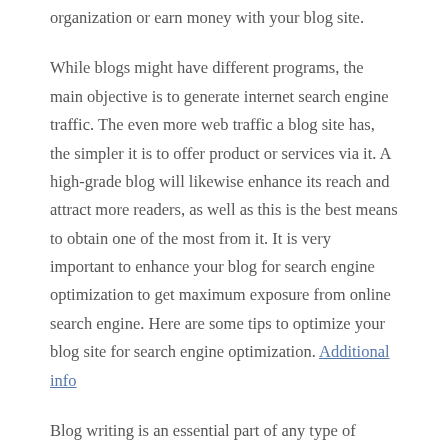organization or earn money with your blog site.
While blogs might have different programs, the main objective is to generate internet search engine traffic. The even more web traffic a blog site has, the simpler it is to offer product or services via it. A high-grade blog will likewise enhance its reach and attract more readers, as well as this is the best means to obtain one of the most from it. It is very important to enhance your blog for search engine optimization to get maximum exposure from online search engine. Here are some tips to optimize your blog site for search engine optimization. Additional info
Blog writing is an essential part of any type of effective online service. If you are running a blog site